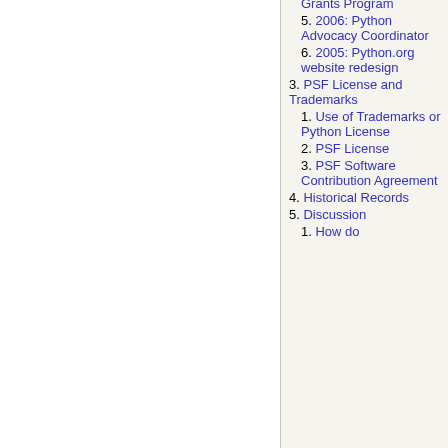5. 2006: Python Advocacy Coordinator
6. 2005: Python.org website redesign
3. PSF License and Trademarks
1. Use of Trademarks or Python License
2. PSF License
3. PSF Software Contribution Agreement
4. Historical Records
5. Discussion
1. How do